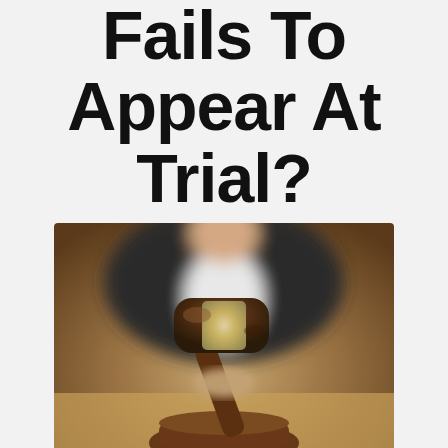Fails To Appear At Trial?
[Figure (photo): Close-up photo of a judge's wooden gavel being held over a sound block on a wooden surface, with a blurred figure in dark judicial robes in the background.]
04 Oct What If The Alledged